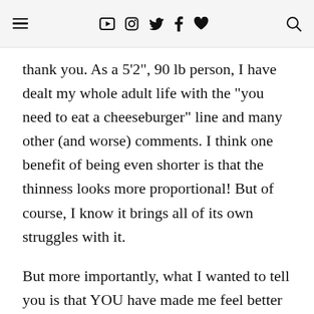[hamburger menu] [YouTube] [Instagram] [Twitter] [Facebook] [heart] [search]
thank you. As a 5'2", 90 lb person, I have dealt my whole adult life with the "you need to eat a cheeseburger" line and many other (and worse) comments. I think one benefit of being even shorter is that the thinness looks more proportional! But of course, I know it brings all of its own struggles with it.
But more importantly, what I wanted to tell you is that YOU have made me feel better about myself. I…